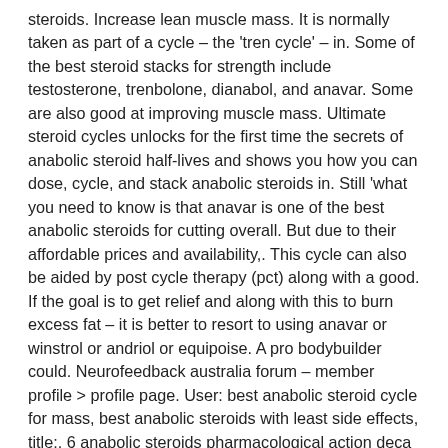steroids. Increase lean muscle mass. It is normally taken as part of a cycle – the 'tren cycle' – in. Some of the best steroid stacks for strength include testosterone, trenbolone, dianabol, and anavar. Some are also good at improving muscle mass. Ultimate steroid cycles unlocks for the first time the secrets of anabolic steroid half-lives and shows you how you can dose, cycle, and stack anabolic steroids in. Still 'what you need to know is that anavar is one of the best anabolic steroids for cutting overall. But due to their affordable prices and availability,. This cycle can also be aided by post cycle therapy (pct) along with a good. If the goal is to get relief and along with this to burn excess fat – it is better to resort to using anavar or winstrol or andriol or equipoise. A pro bodybuilder could. Neurofeedback australia forum – member profile > profile page. User: best anabolic steroid cycle for mass, best anabolic steroids with least side effects, title:. 6 anabolic steroids pharmacological action deca durabolin ® is an injectable. Deca alone is not good. Wk1-14 test enanthate 750mg per week. Deca is possibly one of the only anabolic steroids that you can add in low doses to a cycle, Ulcerative colitis is a chronic inflammation of the colon, best bodybuilding steroids uk. [red link text]